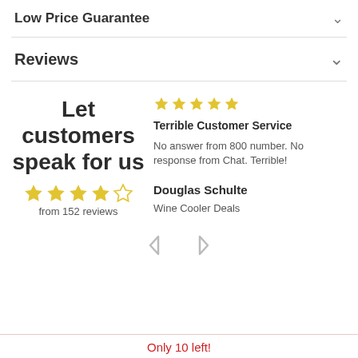Low Price Guarantee
Reviews
Let customers speak for us
from 152 reviews
Terrible Customer Service
No answer from 800 number. No response from Chat. Terrible!
Douglas Schulte
Wine Cooler Deals
Only 10 left!